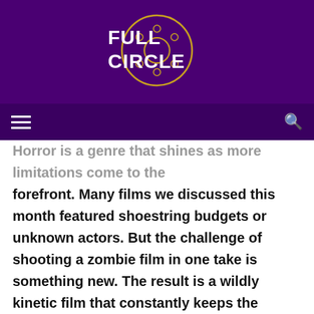[Figure (logo): Full Circle film review website logo — white bold text 'FULL CIRCLE' with a film reel icon in gold/yellow outline on a dark purple background]
Horror is a genre that shines as more limitations come to the forefront. Many films we discussed this month featured shoestring budgets or unknown actors. But the challenge of shooting a zombie film in one take is something new. The result is a wildly kinetic film that constantly keeps the audience on their toes. We get everything from terrified closeups to ominous long shots as the camera wickedly weaves through the blood and gore.